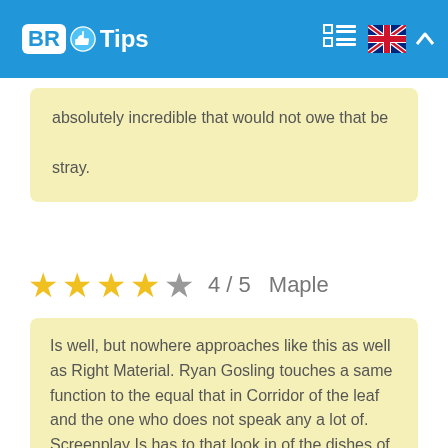BR Tips
absolutely incredible that would not owe that be stray.
4 / 5   Maple
Is well, but nowhere approaches like this as well as Right Material. Ryan Gosling touches a same function to the equal that in Corridor of the leaf and the one who does not speak any a lot of. Screenplay Is has to that look in of the dishes of name or listen very a lot attentively to discover the one who some other characters are. VFX And